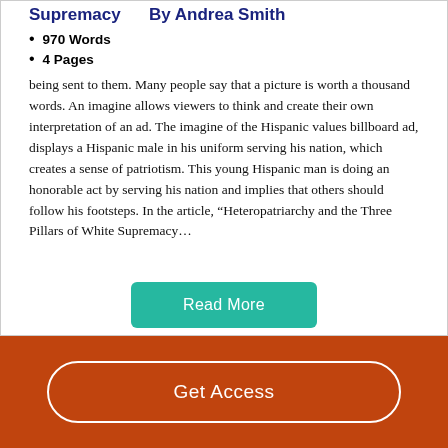Supremacy   By Andrea Smith
970 Words
4 Pages
being sent to them. Many people say that a picture is worth a thousand words. An imagine allows viewers to think and create their own interpretation of an ad. The imagine of the Hispanic values billboard ad, displays a Hispanic male in his uniform serving his nation, which creates a sense of patriotism. This young Hispanic man is doing an honorable act by serving his nation and implies that others should follow his footsteps. In the article, “Heteropatriarchy and the Three Pillars of White Supremacy…
Read More
Get Access